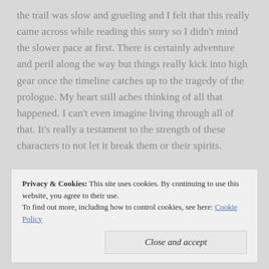the trail was slow and grueling and I felt that this really came across while reading this story so I didn't mind the slower pace at first. There is certainly adventure and peril along the way but things really kick into high gear once the timeline catches up to the tragedy of the prologue. My heart still aches thinking of all that happened. I can't even imagine living through all of that. It's really a testament to the strength of these characters to not let it break them or their spirits.

For romance lovers, there is a wonderful love story woven throughout the book. John and Naomi may have been an unlikely pair, but they forged an unbreakable bond as they had
Privacy & Cookies: This site uses cookies. By continuing to use this website, you agree to their use. To find out more, including how to control cookies, see here: Cookie Policy
Close and accept